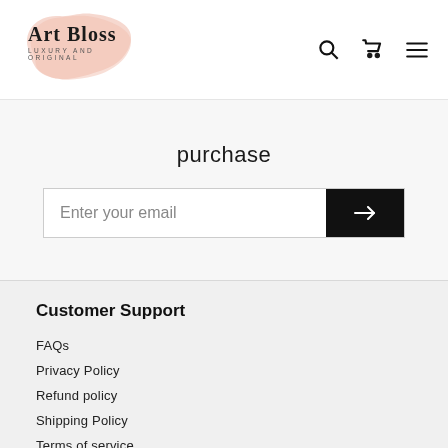[Figure (logo): Art Bloss logo with pink blob shape behind serif text reading 'Art Bloss' and tagline 'LUXURY AND ORIGINAL']
purchase
Enter your email
Customer Support
FAQs
Privacy Policy
Refund policy
Shipping Policy
Terms of service
My account